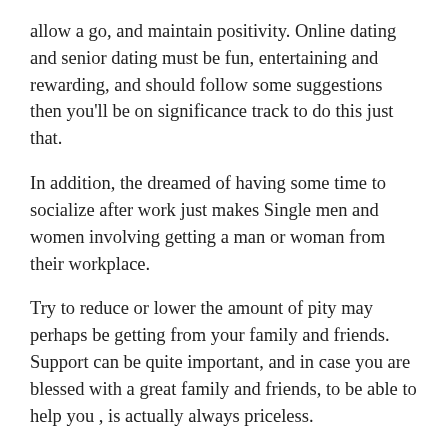allow a go, and maintain positivity. Online dating and senior dating must be fun, entertaining and rewarding, and should follow some suggestions then you'll be on significance track to do this just that.
In addition, the dreamed of having some time to socialize after work just makes Single men and women involving getting a man or woman from their workplace.
Try to reduce or lower the amount of pity may perhaps be getting from your family and friends. Support can be quite important, and in case you are blessed with a great family and friends, to be able to help you , is actually always priceless.
Giving out good vibrations of love and positivity is a sure-fire in order to get good vibrations in return, whether you're writing a dating profile or creating